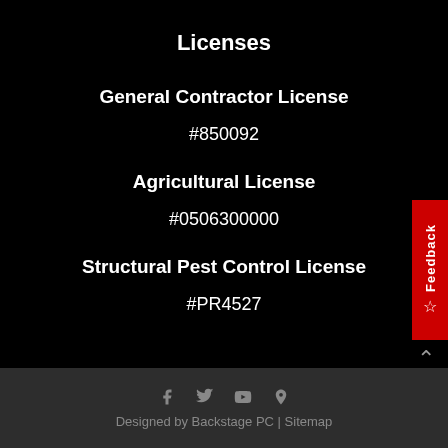Licenses
General Contractor License
#850092
Agricultural License
#0506300000
Structural Pest Control License
#PR4527
Designed by Backstage PC | Sitemap